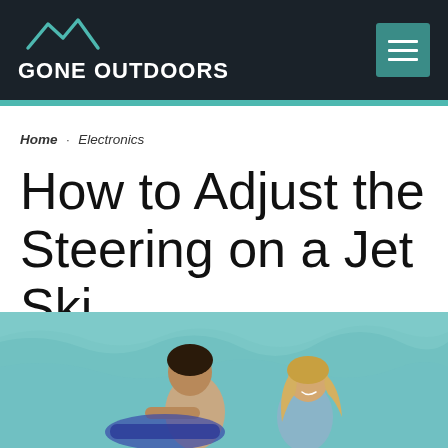GONE OUTDOORS
Home · Electronics
How to Adjust the Steering on a Jet Ski
[Figure (photo): Two people riding a jet ski on turquoise water. A man is in front driving, with dark curly hair, and a smiling woman with long blonde hair is seated behind him wearing a blue bikini top.]